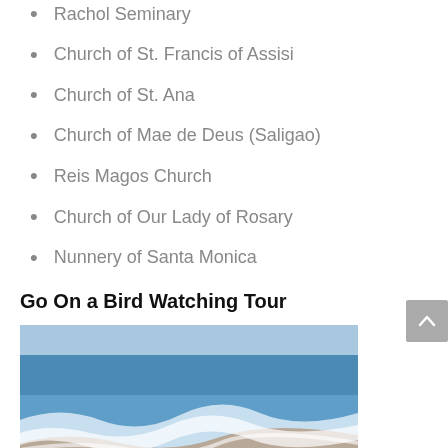Rachol Seminary
Church of St. Francis of Assisi
Church of St. Ana
Church of Mae de Deus (Saligao)
Reis Magos Church
Church of Our Lady of Rosary
Nunnery of Santa Monica
Go On a Bird Watching Tour
[Figure (photo): Beach scene with shorebirds (sandpipers) walking along the shoreline with ocean waves in the background]